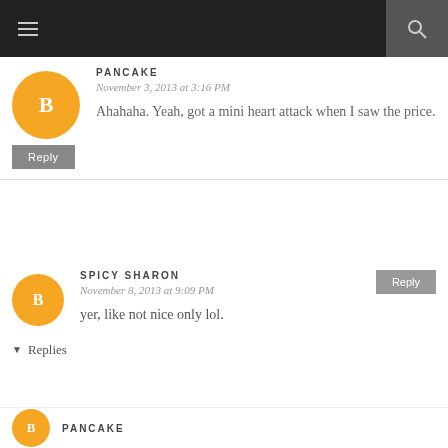Navigation header with menu and search
PANCAKE
November 3, 2013 at 3:16 PM
Ahahaha. Yeah, got a mini heart attack when I saw the price.
Reply
SPICY SHARON
November 8, 2013 at 9:09 PM
yer, like not nice only lol.
Reply
Replies
PANCAKE